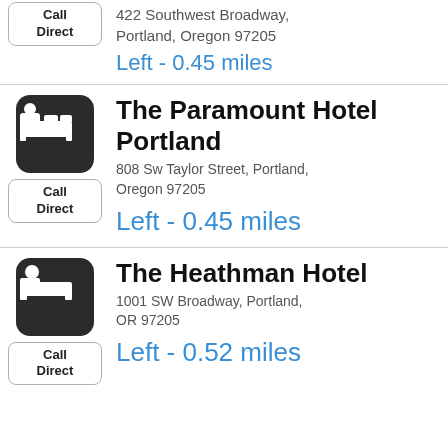[Figure (other): Call Direct button (partial top entry)]
422 Southwest Broadway, Portland, Oregon 97205
Left - 0.45 miles
[Figure (other): Hotel bed icon (dark rounded square)]
The Paramount Hotel Portland
[Figure (other): Call Direct button]
808 Sw Taylor Street, Portland, Oregon 97205
Left - 0.45 miles
[Figure (other): Hotel bed icon (dark rounded square)]
The Heathman Hotel
[Figure (other): Call Direct button]
1001 SW Broadway, Portland, OR 97205
Left - 0.52 miles